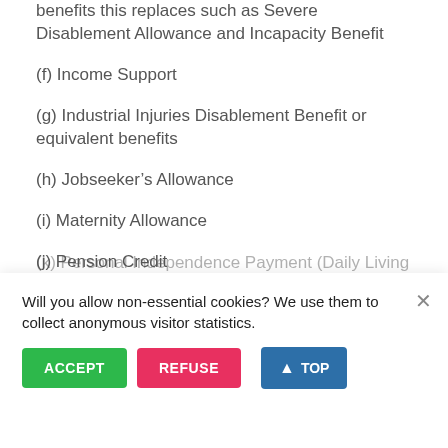benefits this replaces such as Severe Disablement Allowance and Incapacity Benefit
(f) Income Support
(g) Industrial Injuries Disablement Benefit or equivalent benefits
(h) Jobseeker’s Allowance
(i) Maternity Allowance
(j) Pension Credit
(k) Personal Independence Payment (Daily Living component)
(l) State Pension
Will you allow non-essential cookies? We use them to collect anonymous visitor statistics.